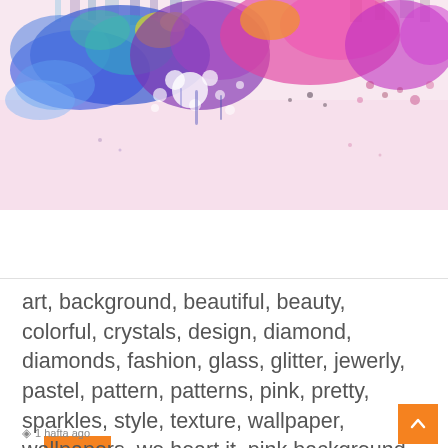[Figure (illustration): Colorful watercolor cityscape/skyline illustration with vibrant paint splashes in blue, purple, pink, orange, green, yellow colors. Buildings visible at the top edge, paint drips and splatter effects creating an artistic urban panorama on a white/pale pink background.]
Read More »
art, background, beautiful, beauty, colorful, crystals, design, diamond, diamonds, fashion, glass, glitter, jewerly, pastel, pattern, patterns, pink, pretty, sparkles, style, texture, wallpaper, wallpapers, we heart it, pink background, beautiful art
1 hafta ago